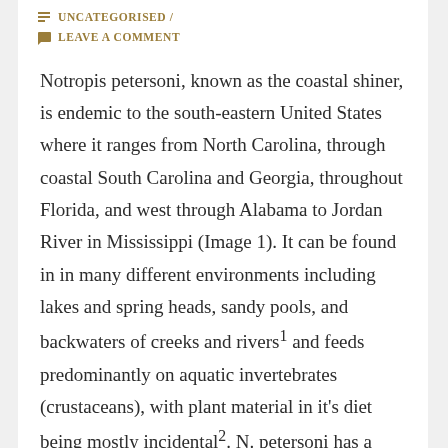UNCATEGORISED / LEAVE A COMMENT
Notropis petersoni, known as the coastal shiner, is endemic to the south-eastern United States where it ranges from North Carolina, through coastal South Carolina and Georgia, throughout Florida, and west through Alabama to Jordan River in Mississippi (Image 1). It can be found in in many different environments including lakes and spring heads, sandy pools, and backwaters of creeks and rivers¹ and feeds predominantly on aquatic invertebrates (crustaceans), with plant material in it's diet being mostly incidental². N. petersoni has a black stripe along its side which wraps around